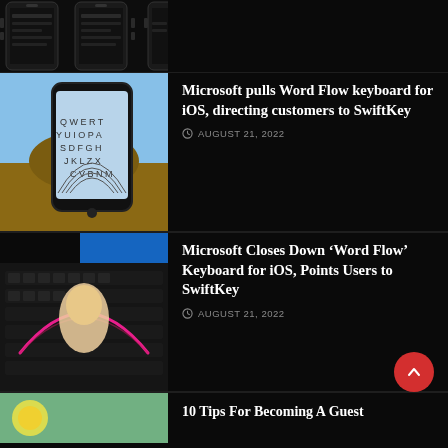[Figure (photo): Partial view of iPhone/smartphone at top of page, dark background]
[Figure (photo): Hand holding smartphone showing circular/arc keyboard layout on light blue screen]
Microsoft pulls Word Flow keyboard for iOS, directing customers to SwiftKey
AUGUST 21, 2022
[Figure (photo): Hand typing on dark physical keyboard with pink/red arc swipe gesture visible]
Microsoft Closes Down ‘Word Flow’ Keyboard for iOS, Points Users to SwiftKey
AUGUST 21, 2022
[Figure (photo): Partial thumbnail image at bottom of page]
10 Tips For Becoming A Guest